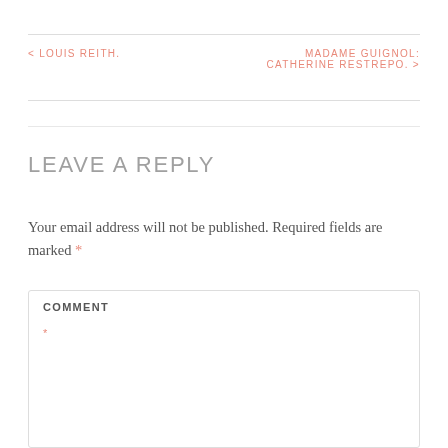< LOUIS REITH.
MADAME GUIGNOL: CATHERINE RESTREPO. >
LEAVE A REPLY
Your email address will not be published. Required fields are marked *
COMMENT *